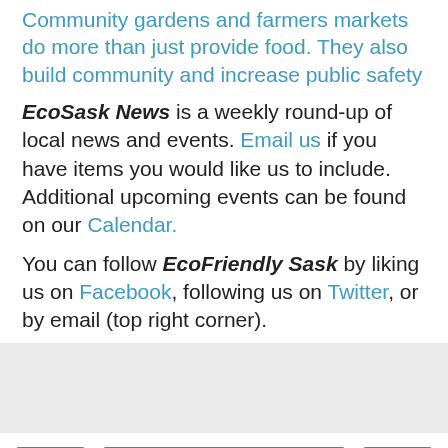Community gardens and farmers markets do more than just provide food. They also build community and increase public safety
EcoSask News is a weekly round-up of local news and events. Email us if you have items you would like us to include. Additional upcoming events can be found on our Calendar.
You can follow EcoFriendly Sask by liking us on Facebook, following us on Twitter, or by email (top right corner).
[Figure (other): Gray placeholder/advertisement box]
< Home >
View web version
Powered by Blogger.